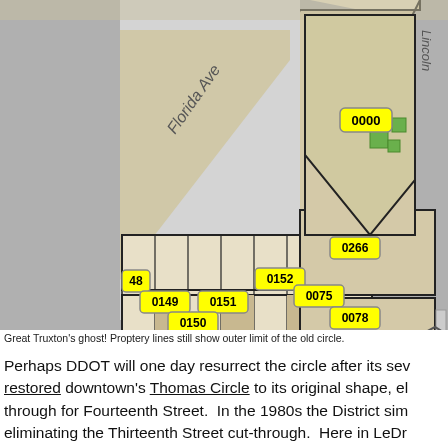[Figure (map): Parcel map showing property lots near Florida Ave with parcel ID labels (0000, 0152, 0151, 0149, 0150, 0075, 0266, 0078, 0284, 0835, 0240, 0241, 0239, 0237, 0238, and partial 12/2) highlighted in yellow bubbles, roads labeled Florida Ave and Lincoln, street parcels outlined in black on beige/tan background with gray surrounds.]
Great Truxton's ghost! Proptery lines still show outer limit of the old circle.
Perhaps DDOT will one day resurrect the circle after its sev restored downtown's Thomas Circle to its original shape, el through for Fourteenth Street.  In the 1980s the District sim eliminating the Thirteenth Street cut-through.  Here in LeDr Cooper Circle until the District in 1984 restored it to its ori